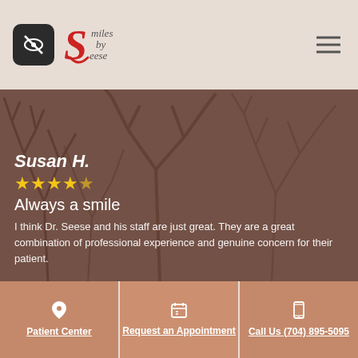[Figure (logo): Smiles by Seese dental practice logo with eye icon in dark rounded square and cursive S with text]
[Figure (photo): Winter bare tree branches against a foggy/misty background with brownish-purple overlay]
Susan H.
★★★★★ (5 stars)
Always a smile
I think Dr. Seese and his staff are just great. They are a great combination of professional experience and genuine concern for their patient.
Patient Center
Request an Appointment
Call Us (704) 895-5095